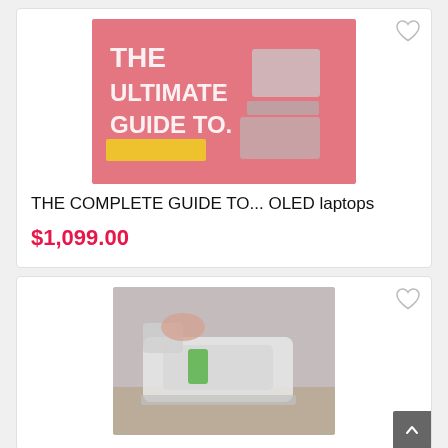[Figure (photo): Product card showing a pink promotional image with text 'THE ULTIMATE GUIDE TO...' and stacked containers/laptops]
THE COMPLETE GUIDE TO... OLED laptops
$1,099.00
[Figure (photo): Product card showing a person using a power tool (planer/joiner) on wood]